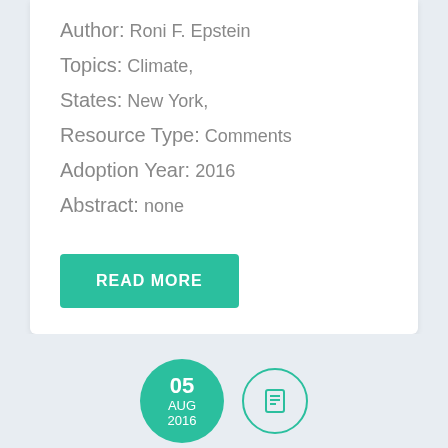Author: Roni F. Epstein
Topics: Climate,
States: New York,
Resource Type: Comments
Adoption Year: 2016
Abstract: none
READ MORE
05 AUG 2016
Comments on Volkswagen “Clean Diesel” Marketing, Sales